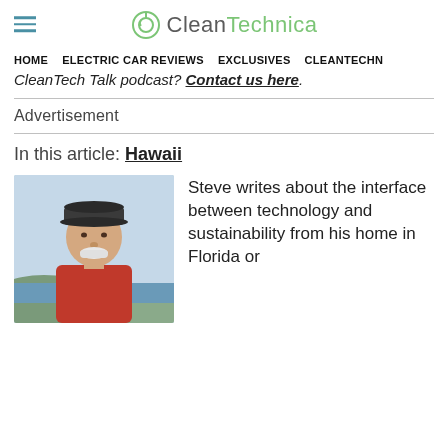CleanTechnica
HOME   ELECTRIC CAR REVIEWS   EXCLUSIVES   CLEANTECHN
CleanTech Talk podcast? Contact us here.
Advertisement
In this article: Hawaii
[Figure (photo): Photo of Steve, an older man wearing a dark baseball cap and red shirt, outdoors with hills/water in the background]
Steve writes about the interface between technology and sustainability from his home in Florida or